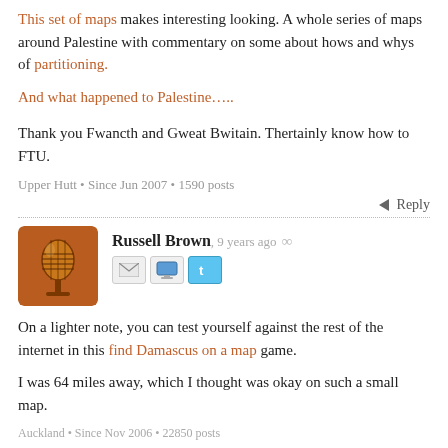This set of maps makes interesting looking. A whole series of maps around Palestine with commentary on some about hows and whys of partitioning.
And what happened to Palestine…..
Thank you Fwancth and Gweat Bwitain. Thertainly know how to FTU.
Upper Hutt • Since Jun 2007 • 1590 posts
Reply
Russell Brown, 9 years ago ∞
[Figure (photo): Avatar image of a microphone on orange/brown background]
On a lighter note, you can test yourself against the rest of the internet in this find Damascus on a map game.
I was 64 miles away, which I thought was okay on such a small map.
Auckland • Since Nov 2006 • 22850 posts